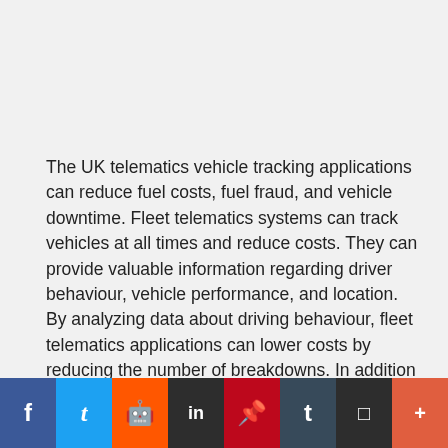The UK telematics vehicle tracking applications can reduce fuel costs, fuel fraud, and vehicle downtime. Fleet telematics systems can track vehicles at all times and reduce costs. They can provide valuable information regarding driver behaviour, vehicle performance, and location. By analyzing data about driving behaviour, fleet telematics applications can lower costs by reducing the number of breakdowns. In addition to reducing fuel costs, fleet telematics systems can also reduce the risk of accidents and theft.
Social share bar: Facebook, Twitter, Reddit, LinkedIn, Pinterest, Tumblr, Flipboard, More